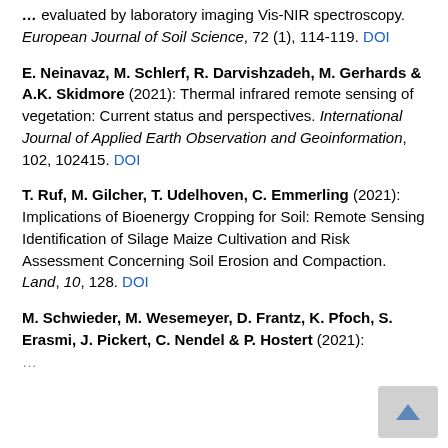… (2022): … complexity evaluated by laboratory imaging Vis-NIR spectroscopy. European Journal of Soil Science, 72 (1), 114-119. DOI
E. Neinavaz, M. Schlerf, R. Darvishzadeh, M. Gerhards & A.K. Skidmore (2021): Thermal infrared remote sensing of vegetation: Current status and perspectives. International Journal of Applied Earth Observation and Geoinformation, 102, 102415. DOI
T. Ruf, M. Gilcher, T. Udelhoven, C. Emmerling (2021): Implications of Bioenergy Cropping for Soil: Remote Sensing Identification of Silage Maize Cultivation and Risk Assessment Concerning Soil Erosion and Compaction. Land, 10, 128. DOI
M. Schwieder, M. Wesemeyer, D. Frantz, K. Pfoch, S. Erasmi, J. Pickert, C. Nendel & P. Hostert (2021):